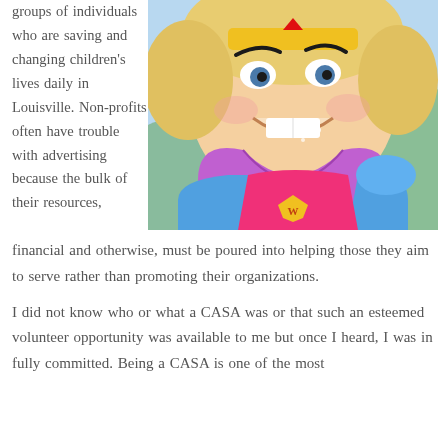groups of individuals who are saving and changing children's lives daily in Louisville. Non-profits often have trouble with advertising because the bulk of their resources,
[Figure (photo): A young girl smiling broadly, dressed in a superhero costume with a pink and blue outfit and a purple cape, with face paint including drawn-on eyebrows. The photo is taken outdoors in warm sunlight.]
financial and otherwise, must be poured into helping those they aim to serve rather than promoting their organizations.
I did not know who or what a CASA was or that such an esteemed volunteer opportunity was available to me but once I heard, I was in fully committed. Being a CASA is one of the most